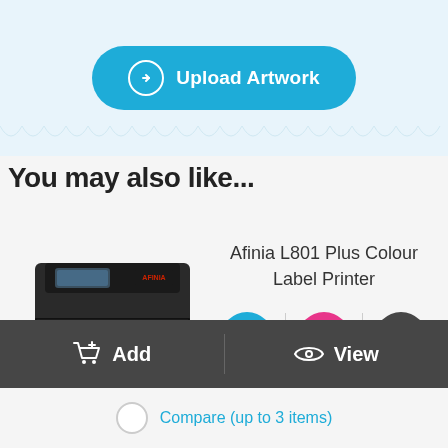[Figure (screenshot): Upload Artwork button - teal rounded button with arrow circle icon and white text]
You may also like...
[Figure (photo): Afinia L801 Plus Colour Label Printer product photo - black industrial label printer with colorful ink cartridge strip]
Afinia L801 Plus Colour Label Printer
[Figure (infographic): Three icon circles: blue water/ink drop icon, pink USB/connector icon, dark grey layers/stack icon with vertical separator lines between them]
Add
View
Compare (up to 3 items)